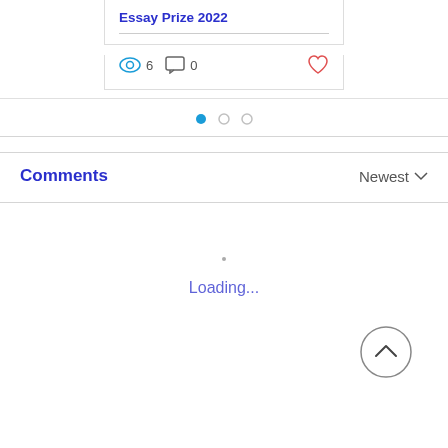Essay Prize 2022
6 views  0 comments
[Figure (screenshot): Carousel dot indicators: one filled blue dot and two gray dots]
Comments
Newest
Loading...
[Figure (other): Back to top circular button with upward chevron icon]